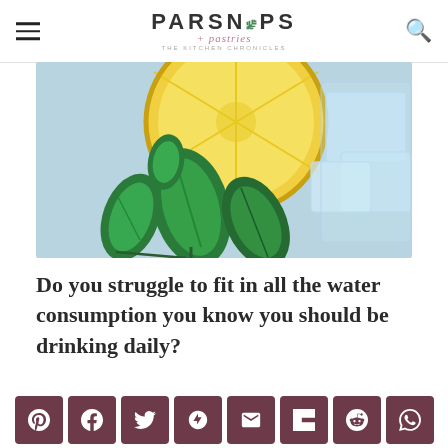PARSNIPS + pastries
[Figure (photo): Close-up photo of a glass with ice cubes, a lemon slice, and fresh mint leaves on a light blue background.]
Do you struggle to fit in all the water consumption you know you should be drinking daily?
Drinking adequate...
Social share buttons: Pinterest, Facebook, Twitter, Yummly, Email, Flipboard, Reddit, WhatsApp